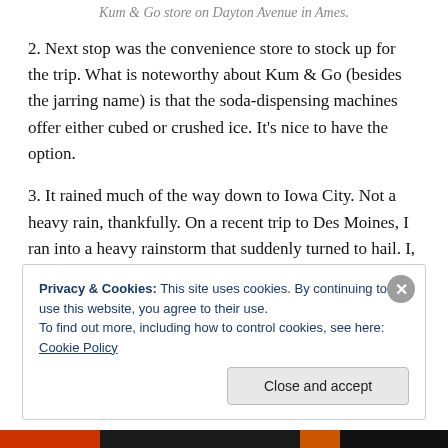Kum & Go store on Dayton Avenue in Ames.
2. Next stop was the convenience store to stock up for the trip. What is noteworthy about Kum & Go (besides the jarring name) is that the soda-dispensing machines offer either cubed or crushed ice. It's nice to have the option.
3. It rained much of the way down to Iowa City. Not a heavy rain, thankfully. On a recent trip to Des Moines, I ran into a heavy rainstorm that suddenly turned to hail. I, along with most (not all) other drivers stopped on the side of the road because we couldn't see five feet in front of us. Not
Privacy & Cookies: This site uses cookies. By continuing to use this website, you agree to their use.
To find out more, including how to control cookies, see here: Cookie Policy